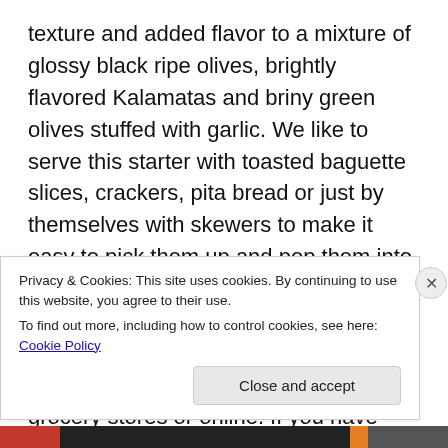texture and added flavor to a mixture of glossy black ripe olives, brightly flavored Kalamatas and briny green olives stuffed with garlic.  We like to serve this starter with toasted baguette slices, crackers, pita bread or just by themselves with skewers to make it easy to pick them up and pop them into your mouth.  Note:  herbs de Provence is a dried herbal blend of rosemary, basil, sag, thyme, summer savory and lavender.  It can be found at larger grocery stores or online.  If you have trouble finding it, just make your own mix of a few of the designated dried herbs that you have on your pantry shelf.  It will be delicious!
Privacy & Cookies: This site uses cookies. By continuing to use this website, you agree to their use.
To find out more, including how to control cookies, see here: Cookie Policy